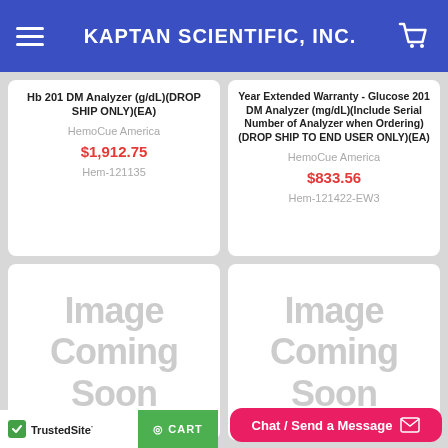KAPTAN SCIENTIFIC, INC.
Hb 201 DM Analyzer (g/dL)(DROP SHIP ONLY)(EA)
HemoCue America
$1,912.75
Hem-121135
Year Extended Warranty - Glucose 201 DM Analyzer (mg/dL)(Include Serial Number of Analyzer when Ordering)(DROP SHIP TO END USER ONLY)(EA)
HemoCue America
$833.56
Hem-121422-EW3
[Figure (illustration): Image Coming Soon placeholder - left bottom card]
[Figure (illustration): Image Coming Soon placeholder - right bottom card]